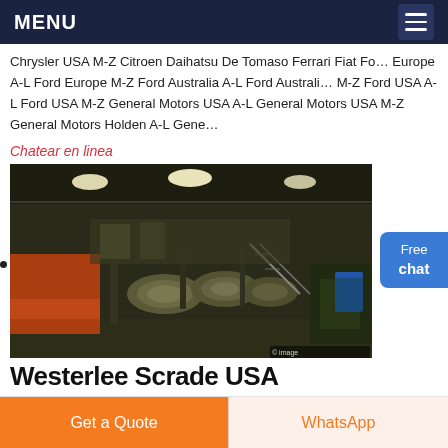MENU
Chrysler USA M-Z Citroen Daihatsu De Tomaso Ferrari Fiat Ford Europe A-L Ford Europe M-Z Ford Australia A-L Ford Australia M-Z Ford USA A-L Ford USA M-Z General Motors USA A-L General Motors USA M-Z General Motors Holden A-L General...
Chatear en linea
[Figure (photo): Aerial view of a large industrial factory floor with heavy machinery, rollers, and equipment inside a warehouse with overhead lighting.]
Westerlee Scrade USA